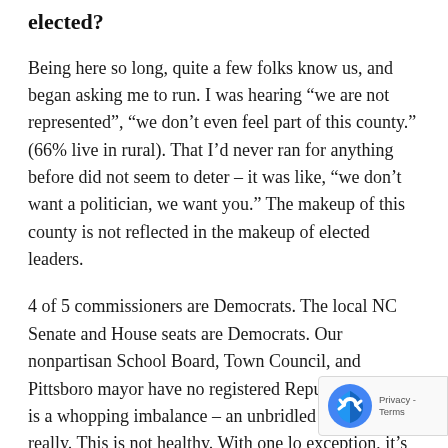elected?
Being here so long, quite a few folks know us, and began asking me to run. I was hearing “we are not represented”, “we don’t even feel part of this county.” (66% live in rural). That I’d never ran for anything before did not seem to deter – it was like, “we don’t want a politician, we want you.” The makeup of this county is not reflected in the makeup of elected leaders.
4 of 5 commissioners are Democrats. The local NC Senate and House seats are Democrats. Our nonpartisan School Board, Town Council, and Pittsboro mayor have no registered Republicans. This is a whopping imbalance – an unbridled monopoly really. This is not healthy. With one lo exception, it’s been this way here. Chatham’s history shows they have little fear losing that